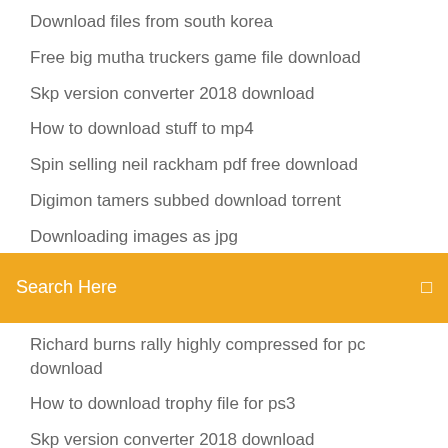Download files from south korea
Free big mutha truckers game file download
Skp version converter 2018 download
How to download stuff to mp4
Spin selling neil rackham pdf free download
Digimon tamers subbed download torrent
Downloading images as jpg
Search Here
Richard burns rally highly compressed for pc download
How to download trophy file for ps3
Skp version converter 2018 download
Virtualbox linux torrent download
Hp stream 14 driver download
Download star wars battlefront pc 2004
Apollo apk free download
Can download apple store apps on itunes now
Unt advancement logo download
Arma 3 virtual garage mod download